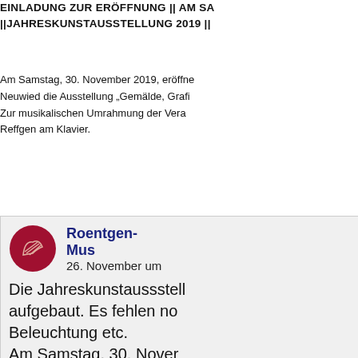EINLADUNG ZUR ERÖFFNUNG || AM SA... ||JAHRESKUNSTAUSSTELLUNG 2019 ||
Am Samstag, 30. November 2019, eröffne... Neuwied die Ausstellung „Gemälde, Grafi... Zur musikalischen Umrahmung der Vera... Reffgen am Klavier.
[Figure (screenshot): Social media post from Roentgen-Museum showing text about Jahreskunstausstellung being set up, with circular red logo featuring a stylized bird/wing mark, text 'Roentgen-Mus... 26. November um ...' and body text 'Die Jahreskunstaussstell... aufgebaut. Es fehlen no... Beleuchtung etc. Am Samstag, 30. Nover...']
[Figure (photo): Interior photo of an exhibition space showing ceiling track lighting system with spotlights mounted on rails, wall panels visible below.]